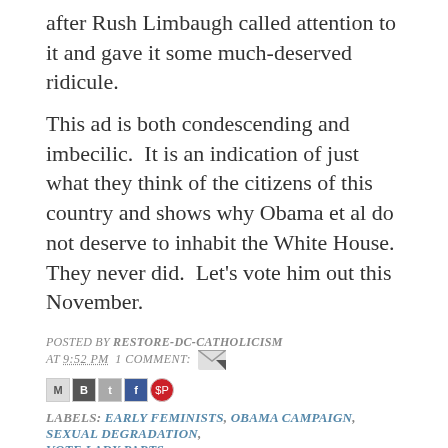after Rush Limbaugh called attention to it and gave it some much-deserved ridicule.
This ad is both condescending and imbecilic.  It is an indication of just what they think of the citizens of this country and shows why Obama et al do not deserve to inhabit the White House.  They never did.  Let's vote him out this November.
POSTED BY RESTORE-DC-CATHOLICISM AT 9:52 PM   1 COMMENT:
[Figure (other): Social share icons: email, Blogger, Twitter, Facebook, Pinterest]
LABELS: EARLY FEMINISTS, OBAMA CAMPAIGN, SEXUAL DEGRADATION, VOTE LADY PARTS
MONDAY, OCTOBER 1, 2012